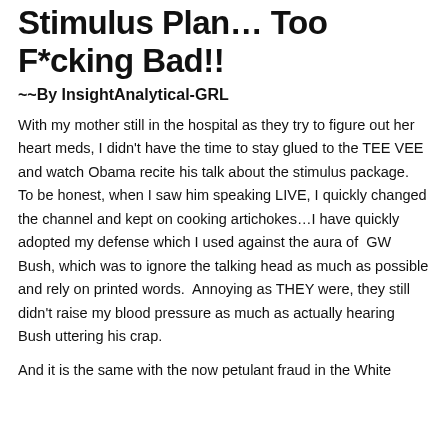Stimulus Plan… Too F*cking Bad!!
~~By InsightAnalytical-GRL
With my mother still in the hospital as they try to figure out her heart meds, I didn't have the time to stay glued to the TEE VEE and watch Obama recite his talk about the stimulus package.  To be honest, when I saw him speaking LIVE, I quickly changed the channel and kept on cooking artichokes…I have quickly adopted my defense which I used against the aura of  GW Bush, which was to ignore the talking head as much as possible and rely on printed words.  Annoying as THEY were, they still didn't raise my blood pressure as much as actually hearing Bush uttering his crap.
And it is the same with the now petulant fraud in the White